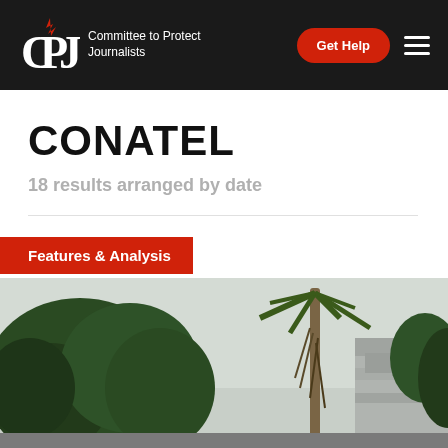CPJ — Committee to Protect Journalists
CONATEL
18 results arranged by date
Features & Analysis
[Figure (photo): Outdoor photo showing tropical trees including a palm tree and a concrete building facade against a hazy sky, associated with a CONATEL Features & Analysis article on the CPJ website.]